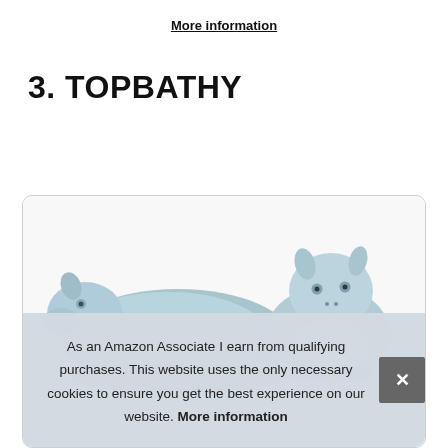More information
3. TOPBATHY
[Figure (photo): Photo of ceramic light blue whale/animal figurines (bath toys or decorative items) inside a bordered product card.]
As an Amazon Associate I earn from qualifying purchases. This website uses the only necessary cookies to ensure you get the best experience on our website. More information